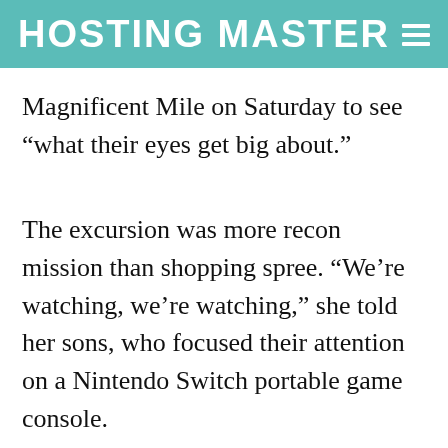HOSTING MASTER≡
Magnificent Mile on Saturday to see “what their eyes get big about.”
The excursion was more recon mission than shopping spree. “We’re watching, we’re watching,” she told her sons, who focused their attention on a Nintendo Switch portable game console.